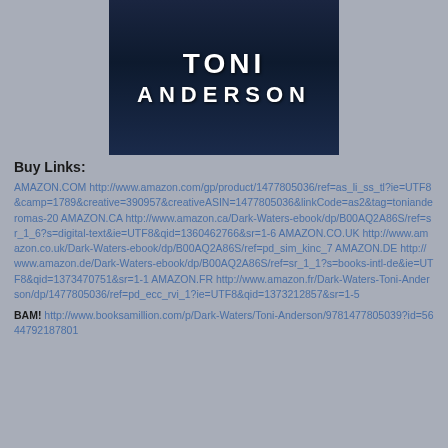[Figure (photo): Book cover image showing 'TONI ANDERSON' text in white bold letters on a dark blue/navy background with a shadowy figure]
Buy Links:
AMAZON.COM http://www.amazon.com/gp/product/1477805036/ref=as_li_ss_tl?ie=UTF8&camp=1789&creative=390957&creativeASIN=1477805036&linkCode=as2&tag=tonianderomas-20 AMAZON.CA http://www.amazon.ca/Dark-Waters-ebook/dp/B00AQ2A86S/ref=sr_1_6?s=digital-text&ie=UTF8&qid=1360462766&sr=1-6 AMAZON.CO.UK http://www.amazon.co.uk/Dark-Waters-ebook/dp/B00AQ2A86S/ref=pd_sim_kinc_7 AMAZON.DE http://www.amazon.de/Dark-Waters-ebook/dp/B00AQ2A86S/ref=sr_1_1?s=books-intl-de&ie=UTF8&qid=1373470751&sr=1-1 AMAZON.FR http://www.amazon.fr/Dark-Waters-Toni-Anderson/dp/1477805036/ref=pd_ecc_rvi_1?ie=UTF8&qid=1373212857&sr=1-5
BAM! http://www.booksamillion.com/p/Dark-Waters/Toni-Anderson/9781477805039?id=5644792187801